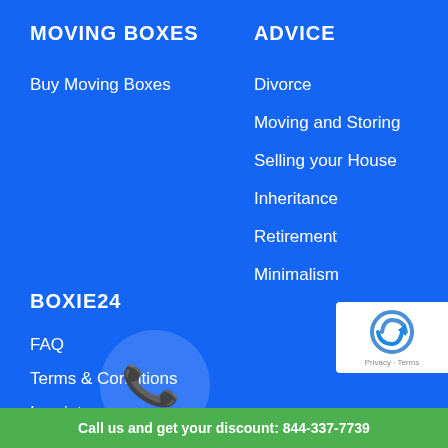MOVING BOXES
ADVICE
Buy Moving Boxes
Divorce
Moving and Storing
Selling your House
Inheritance
Retirement
Minimalism
BOXIE24
FAQ
Terms & Conditions
Imprint
[Figure (logo): reCAPTCHA badge with Privacy and Terms text]
Call us and get your discount: 844-337-7739